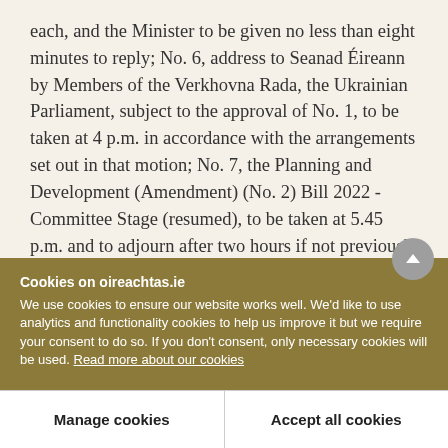each, and the Minister to be given no less than eight minutes to reply; No. 6, address to Seanad Éireann by Members of the Verkhovna Rada, the Ukrainian Parliament, subject to the approval of No. 1, to be taken at 4 p.m. in accordance with the arrangements set out in that motion; No. 7, the Planning and Development (Amendment) (No. 2) Bill 2022 - Committee Stage (resumed), to be taken at 5.45 p.m. and to adjourn after two hours if not previously concluded; and No. 8, the Birth Information and
Cookies on oireachtas.ie
We use cookies to ensure our website works well. We'd like to use analytics and functionality cookies to help us improve it but we require your consent to do so. If you don't consent, only necessary cookies will be used. Read more about our cookies
Manage cookies
Accept all cookies